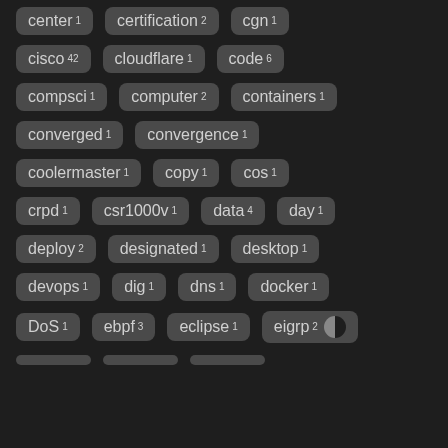center 1
certification 2
cgn 1
cisco 42
cloudflare 1
code 6
compsci 1
computer 2
containers 1
converged 1
convergence 1
coolermaster 1
copy 1
cos 1
crpd 1
csr1000v 1
data 4
day 1
deploy 2
designated 1
desktop 1
devops 1
dig 1
dns 1
docker 1
DoS 1
ebpf 3
eclipse 1
eigrp 2